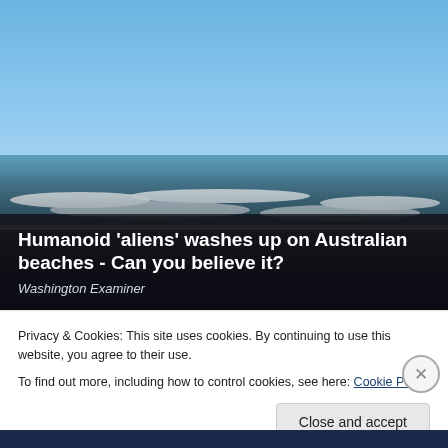[Figure (photo): Beach scene with ocean waves, sandy shoreline, and clear blue sky. Dark overlay at the bottom with white headline text.]
Humanoid 'aliens' washes up on Australian beaches - Can you believe it?
Washington Examiner
Privacy & Cookies: This site uses cookies. By continuing to use this website, you agree to their use.
To find out more, including how to control cookies, see here: Cookie Policy